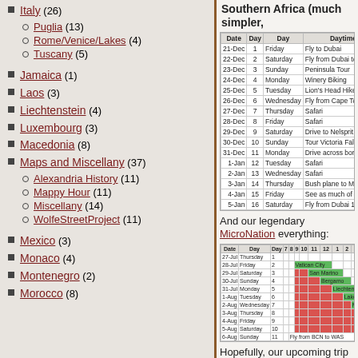Italy (26)
Puglia (13)
Rome/Venice/Lakes (4)
Tuscany (5)
Jamaica (1)
Laos (3)
Liechtenstein (4)
Luxembourg (3)
Macedonia (8)
Maps and Miscellany (37)
Alexandria History (11)
Mappy Hour (11)
Miscellany (14)
WolfeStreetProject (11)
Mexico (3)
Monaco (4)
Montenegro (2)
Morocco (8)
Southern Africa (much simpler,
| Date | Day | Day | Daytime Lo |
| --- | --- | --- | --- |
| 21-Dec | 1 | Friday | Fly to Dubai |
| 22-Dec | 2 | Saturday | Fly from Dubai to Cape Tow |
| 23-Dec | 3 | Sunday | Peninsula Tour |
| 24-Dec | 4 | Monday | Winery Biking |
| 25-Dec | 5 | Tuesday | Lion's Head Hike / Capes B |
| 26-Dec | 6 | Wednesday | Fly from Cape Town to Skuk |
| 27-Dec | 7 | Thursday | Safari |
| 28-Dec | 8 | Friday | Safari |
| 29-Dec | 9 | Saturday | Drive to Nelsprit int'l airport |
| 30-Dec | 10 | Sunday | Tour Victoria Falls / boat sa |
| 31-Dec | 11 | Monday | Drive across border to Bots |
| 1-Jan | 12 | Tuesday | Safari |
| 2-Jan | 13 | Wednesday | Safari |
| 3-Jan | 14 | Thursday | Bush plane to Maun / Fly Ma |
| 4-Jan | 15 | Friday | See as much of Dubai as po |
| 5-Jan | 16 | Saturday | Fly from Dubai 14 hours ho |
And our legendary MicroNation everything:
| Date | Day | Day | 7 | 8 | 9 | 10 | 11 | 12 | 1 | 2 | 3 | 4 | 5 | 6 | 7 | 8 | 9 | 10 |
| --- | --- | --- | --- | --- | --- | --- | --- | --- | --- | --- | --- | --- | --- | --- | --- | --- | --- | --- |
| 27-Jul | Thursday | 1 |  |  |  |  |  |  |  |  |  |  |  |  |  |  |  | Fly from WA |
| 28-Jul | Friday | 2 |  |  | Vatican City |  |  |  |  |  |  |  |  |  |  |  |  | Rome |
| 29-Jul | Saturday | 3 |  |  |  | San Marino |  |  |  |  |  |  |  |  |  |  |  | Drive |
| 30-Jul | Sunday | 4 |  |  |  |  | Bergamo |  |  |  |  |  |  |  |  |  |  | Drive |
| 31-Jul | Monday | 5 |  |  |  |  |  | Liechtenstein |  |  |  |  |  |  |  |  |  | Drive |
| 1-Aug | Tuesday | 6 |  |  |  |  |  |  | Lake Lugano |  |  |  |  |  |  |  |  | Drive |
| 2-Aug | Wednesday | 7 |  |  |  |  |  |  |  | Monaco |  |  |  |  |  |  |  | Drive |
| 3-Aug | Thursday | 8 |  |  |  |  |  |  |  |  | Carcassonne |  |  |  |  |  | Drive |
| 4-Aug | Friday | 9 |  |  |  |  |  |  |  |  |  | Andorra |  |  |  |  | Drive |
| 5-Aug | Saturday | 10 |  |  |  |  |  |  |  |  |  |  | Barca |  |  |  | Drive |
| 6-Aug | Sunday | 11 |  |  | Fly from BCN to WAS |  |  |  |  |  |  |  |  |  |  |  | Drive |
Hopefully, our upcoming trip wi